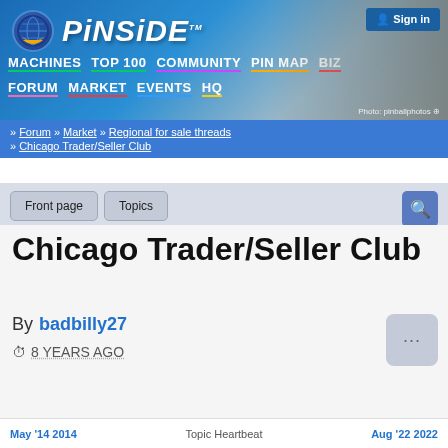[Figure (screenshot): Pinside website header banner with logo, navigation links (MACHINES, TOP 100, COMMUNITY, PIN MAP, BIZ, FORUM, MARKET, EVENTS, HQ), Sign in button, and background photo of pinball machine detail]
» Forum » Market » Regional for sale threads » Chicago Trader/Seller Club
Chicago Trader/Seller Club
By badbilly27
⏱ 8 YEARS AGO
May '14 2014   Topic Heartbeat   Aug '22 2022